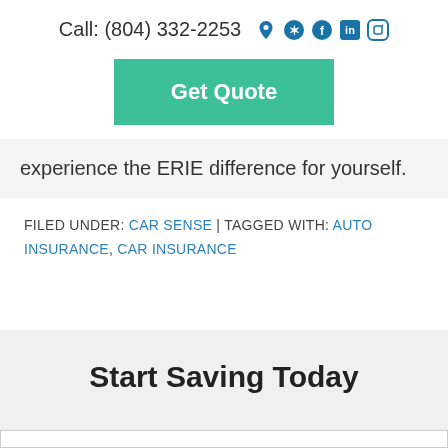Call: (804) 332-2253
Get Quote
experience the ERIE difference for yourself.
FILED UNDER: CAR SENSE | TAGGED WITH: AUTO INSURANCE, CAR INSURANCE
Start Saving Today